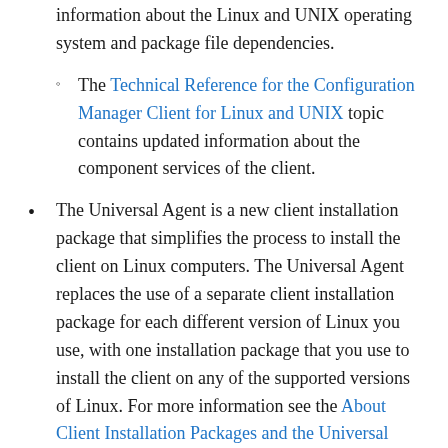information about the Linux and UNIX operating system and package file dependencies.
The Technical Reference for the Configuration Manager Client for Linux and UNIX topic contains updated information about the component services of the client.
The Universal Agent is a new client installation package that simplifies the process to install the client on Linux computers. The Universal Agent replaces the use of a separate client installation package for each different version of Linux you use, with one installation package that you use to install the client on any of the supported versions of Linux. For more information see the About Client Installation Packages and the Universal Agent section in the How to Install